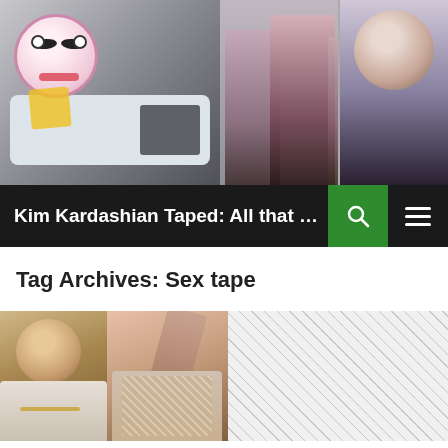[Figure (photo): Website header banner with a cartoon avatar, car, and celebrity photos]
Kim Kardashian Taped: All that can be rec...
Tag Archives: Sex tape
[Figure (photo): Article thumbnail showing two people side by side with hatched background]
KIM KARDASHIAN CAREER, KIM KARDASHIAN NEWS
PORN STAR SAYS HE HAD A